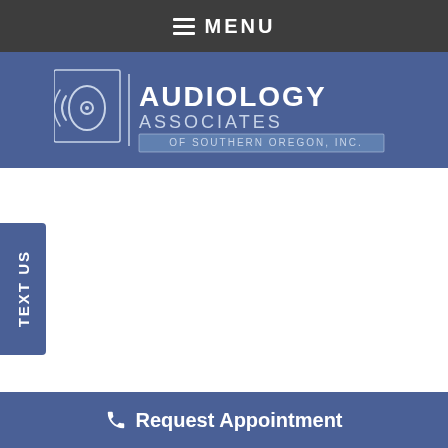MENU
[Figure (logo): Audiology Associates of Southern Oregon, Inc. logo — ear/sound wave icon on left, company name text on right on a blue background]
TEXT US
Request Appointment